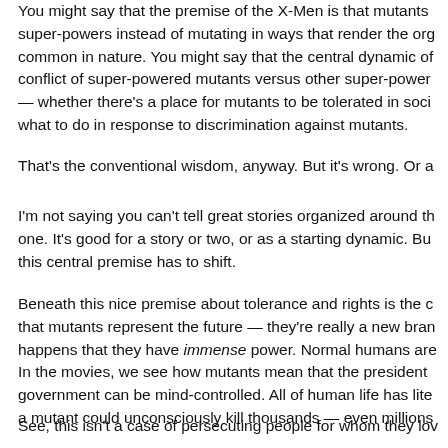You might say that the premise of the X-Men is that mutants get super-powers instead of mutating in ways that render the organism common in nature. You might say that the central dynamic of — whether there's a place for mutants to be tolerated in soci — what to do in response to discrimination against mutants.
That's the conventional wisdom, anyway. But it's wrong. Or a
I'm not saying you can't tell great stories organized around th one. It's good for a story or two, or as a starting dynamic. Bu this central premise has to shift.
Beneath this nice premise about tolerance and rights is the c that mutants represent the future — they're really a new bran happens that they have immense power. Normal humans are In the movies, we see how mutants mean that the president government can be mind-controlled. All of human life has lite a mutant could unconsciously kill thousands — even millions
See, this isn't a case of persecuting people for whom they lov